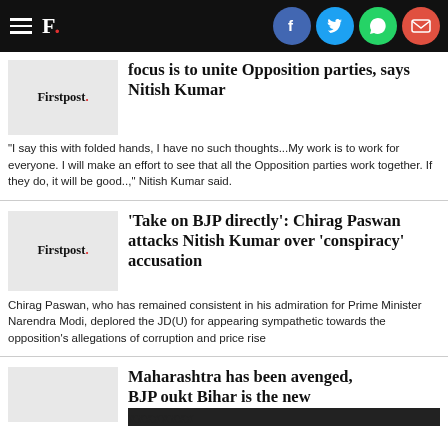Firstpost - social sharing header
focus is to unite Opposition parties, says Nitish Kumar
"I say this with folded hands, I have no such thoughts...My work is to work for everyone. I will make an effort to see that all the Opposition parties work together. If they do, it will be good..," Nitish Kumar said.
'Take on BJP directly': Chirag Paswan attacks Nitish Kumar over 'conspiracy' accusation
Chirag Paswan, who has remained consistent in his admiration for Prime Minister Narendra Modi, deplored the JD(U) for appearing sympathetic towards the opposition's allegations of corruption and price rise
Maharashtra has been avenged, BJP oukt Bihar is the new...